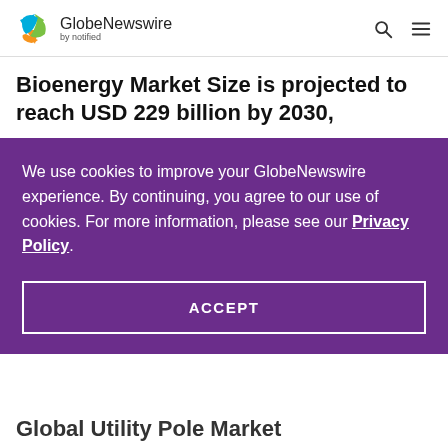GlobeNewswire by notified
Bioenergy Market Size is projected to reach USD 229 billion by 2030,
We use cookies to improve your GlobeNewswire experience. By continuing, you agree to our use of cookies. For more information, please see our Privacy Policy.
ACCEPT
Global Utility Pole Market